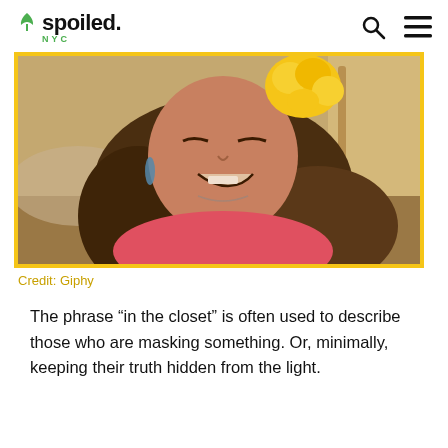spoiled. NYC
[Figure (photo): Person with long brown hair and a yellow flower accessory, making a disgusted facial expression, wearing a pink top. Yellow border around the photo.]
Credit: Giphy
The phrase “in the closet” is often used to describe those who are masking something. Or, minimally, keeping their truth hidden from the light.